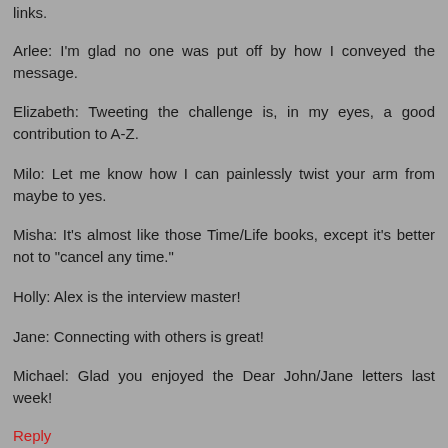links.
Arlee: I'm glad no one was put off by how I conveyed the message.
Elizabeth: Tweeting the challenge is, in my eyes, a good contribution to A-Z.
Milo: Let me know how I can painlessly twist your arm from maybe to yes.
Misha: It's almost like those Time/Life books, except it's better not to "cancel any time."
Holly: Alex is the interview master!
Jane: Connecting with others is great!
Michael: Glad you enjoyed the Dear John/Jane letters last week!
Reply